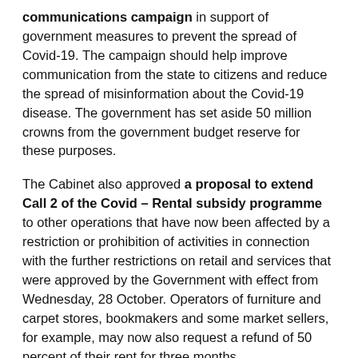communications campaign in support of government measures to prevent the spread of Covid-19. The campaign should help improve communication from the state to citizens and reduce the spread of misinformation about the Covid-19 disease. The government has set aside 50 million crowns from the government budget reserve for these purposes.
The Cabinet also approved a proposal to extend Call 2 of the Covid – Rental subsidy programme to other operations that have now been affected by a restriction or prohibition of activities in connection with the further restrictions on retail and services that were approved by the Government with effect from Wednesday, 28 October. Operators of furniture and carpet stores, bookmakers and some market sellers, for example, may now also request a refund of 50 percent of their rent for three months.